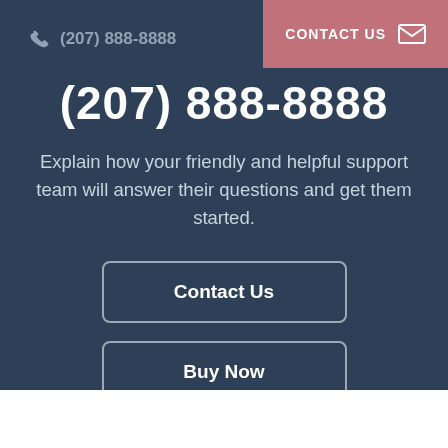(207) 888-8888
CONTACT US
(207) 888-8888
Explain how your friendly and helpful support team will answer their questions and get them started.
Contact Us
Buy Now